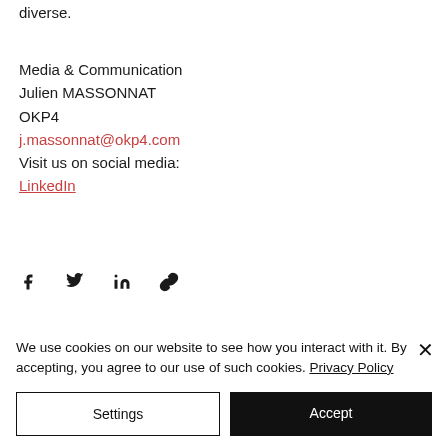diverse.
Media & Communication
Julien MASSONNAT
OKP4
j.massonnat@okp4.com
Visit us on social media:
LinkedIn
[Figure (infographic): Social share icons: Facebook, Twitter, LinkedIn, link/copy icon]
We use cookies on our website to see how you interact with it. By accepting, you agree to our use of such cookies. Privacy Policy
Settings
Accept